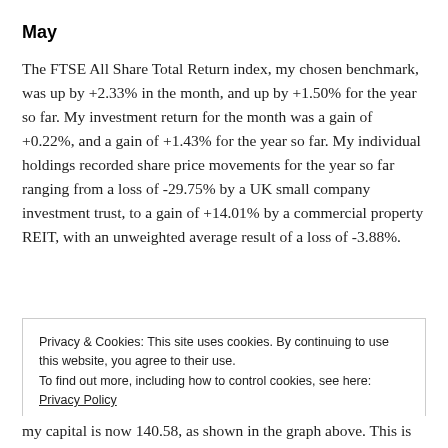May
The FTSE All Share Total Return index, my chosen benchmark, was up by +2.33% in the month, and up by +1.50% for the year so far. My investment return for the month was a gain of +0.22%, and a gain of +1.43% for the year so far. My individual holdings recorded share price movements for the year so far ranging from a loss of -29.75% by a UK small company investment trust, to a gain of +14.01% by a commercial property REIT, with an unweighted average result of a loss of -3.88%.
Privacy & Cookies: This site uses cookies. By continuing to use this website, you agree to their use.
To find out more, including how to control cookies, see here: Privacy Policy
[Close and accept]
my capital is now 140.58, as shown in the graph above. This is